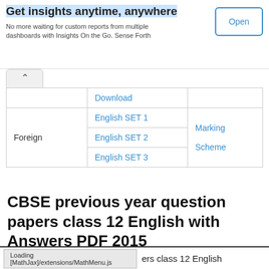Get insights anytime, anywhere
No more waiting for custom reports from multiple dashboards with Insights On the Go. Sense Forth
Open
|  | Download |  |
| Foreign | English SET 1 | Marking Scheme |
| Foreign | English SET 2 | Marking Scheme |
| Foreign | English SET 3 | Marking Scheme |
CBSE previous year question papers class 12 English with Answers PDF 2015
Loading [MathJax]/extensions/MathMenu.js    ers class 12 English